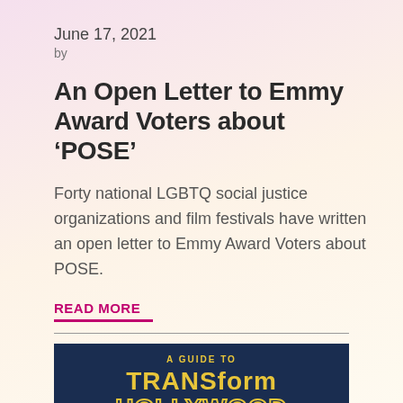June 17, 2021
by
An Open Letter to Emmy Award Voters about 'POSE'
Forty national LGBTQ social justice organizations and film festivals have written an open letter to Emmy Award Voters about POSE.
READ MORE
[Figure (illustration): Dark navy blue image block showing 'A GUIDE TO TRANSform HOLLYWOOD' text in gold/yellow lettering]